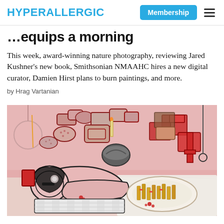HYPERALLERGIC
…equips a morning
This week, award-winning nature photography, reviewing Jared Kushner's new book, Smithsonian NMAAHC hires a new digital curator, Damien Hirst plans to burn paintings, and more.
by Hrag Vartanian
[Figure (illustration): Philip Guston-style painting showing a reclining figure in pink tones with bread, boxes, and objects on a table, cigarettes on a plate, rendered in red outlines on pink background]